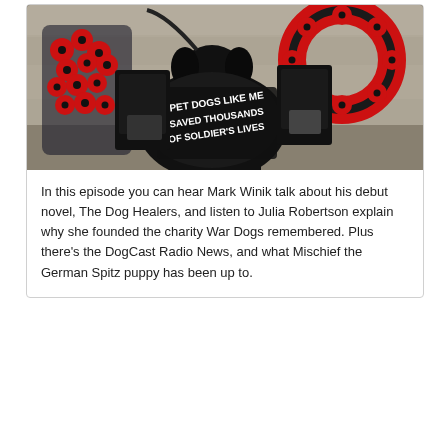[Figure (photo): A black dog wearing a vest/jacket with white text reading 'PET DOGS LIKE ME SAVED THOUSANDS OF SOLDIER'S LIVES', surrounded by red poppy wreaths against a stone wall background.]
In this episode you can hear Mark Winik talk about his debut novel, The Dog Healers, and listen to Julia Robertson explain why she founded the charity War Dogs remembered. Plus there's the DogCast Radio News, and what Mischief the German Spitz puppy has been up to.